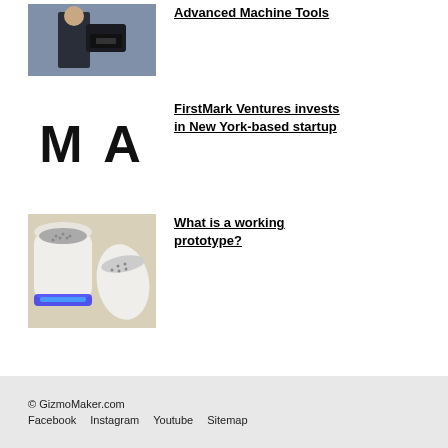[Figure (photo): Person in suit standing next to industrial machine tool equipment]
Advanced Machine Tools
[Figure (logo): Large bold letters M A on white background]
FirstMark Ventures invests in New York-based startup
[Figure (photo): Two white 3D-printed cylindrical devices with blue LED light on bottom]
What is a working prototype?
© GizmoMaker.com  Facebook  Instagram  Youtube  Sitemap